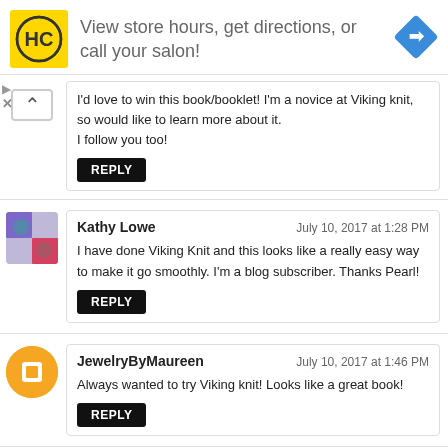[Figure (infographic): Advertisement banner for HC (Hair Club or similar) showing store directions. Yellow square logo with HC text, followed by text 'View store hours, get directions, or call your salon!' and a blue diamond directional arrow icon on the right.]
I'd love to win this book/booklet! I'm a novice at Viking knit, so would like to learn more about it.
I follow you too!
Reply
Kathy Lowe
July 10, 2017 at 1:28 PM
I have done Viking Knit and this looks like a really easy way to make it go smoothly. I'm a blog subscriber. Thanks Pearl!
Reply
JewelryByMaureen
July 10, 2017 at 1:46 PM
Always wanted to try Viking knit! Looks like a great book!
Reply